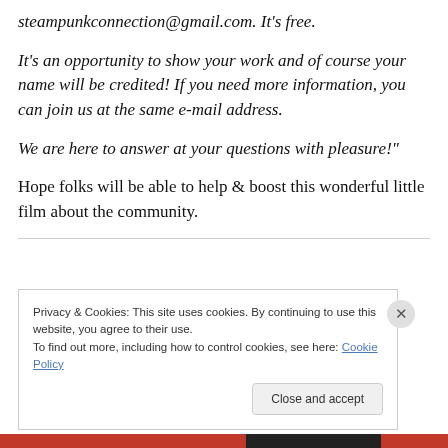steampunkconnection@gmail.com. It's free.
It's an opportunity to show your work and of course your name will be credited! If you need more information, you can join us at the same e-mail address.
We are here to answer at your questions with pleasure!"
Hope folks will be able to help & boost this wonderful little film about the community.
Privacy & Cookies: This site uses cookies. By continuing to use this website, you agree to their use.
To find out more, including how to control cookies, see here: Cookie Policy
Close and accept